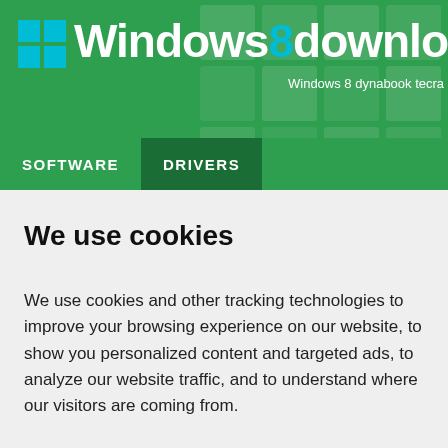Windows8downloads — Windows 8 dynabook tecra r950 audio driver d
We use cookies
We use cookies and other tracking technologies to improve your browsing experience on our website, to show you personalized content and targeted ads, to analyze our website traffic, and to understand where our visitors are coming from.
I agree | Change my preferences